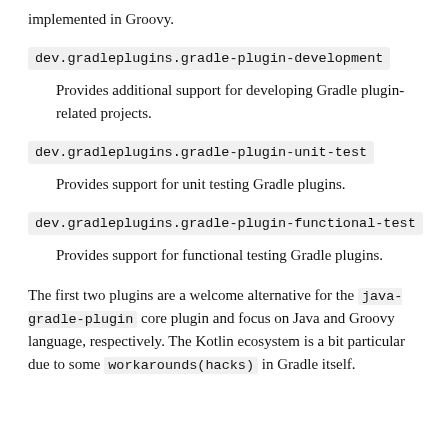implemented in Groovy.
dev.gradleplugins.gradle-plugin-development
Provides additional support for developing Gradle plugin-related projects.
dev.gradleplugins.gradle-plugin-unit-test
Provides support for unit testing Gradle plugins.
dev.gradleplugins.gradle-plugin-functional-test
Provides support for functional testing Gradle plugins.
The first two plugins are a welcome alternative for the java-gradle-plugin core plugin and focus on Java and Groovy language, respectively. The Kotlin ecosystem is a bit particular due to some workarounds(hacks) in Gradle itself.